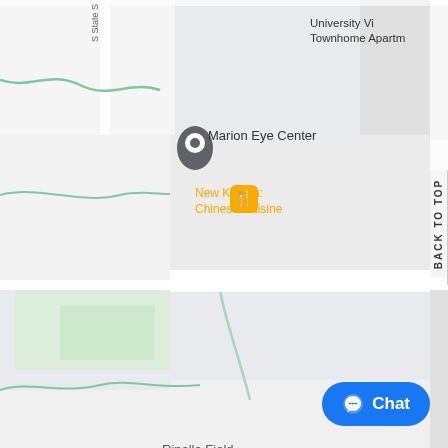[Figure (map): Google Maps screenshot showing area around 1051 S Wall St, Carbondale, IL 62901. Features include Marion Eye Center, New Kahala Chinese Cuisine, Don Taco, Primo's Pizza, Schneider Hall, Rinella Field, Meadow Ridge Townhomes, University Village Townhome Apartments, and Domino's. Streets visible include E Grand Ave, S Wall St, S State St, Neely Dr, E Campus Dr.]
BACK TO TOP
Chat